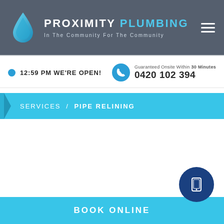PROXIMITY PLUMBING — In The Community For The Community
12:59 PM WE'RE OPEN!
Guaranteed Onsite Within 30 Minutes
0420 102 394
SERVICES / PIPE RELINING
BOOK ONLINE